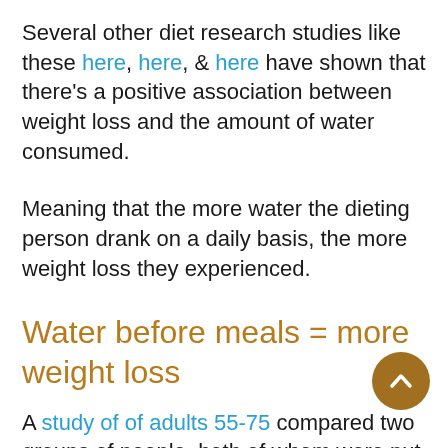Several other diet research studies like these here, here, & here have shown that there's a positive association between weight loss and the amount of water consumed.
Meaning that the more water the dieting person drank on a daily basis, the more weight loss they experienced.
Water before meals = more weight loss
A study of of adults 55-75 compared two groups of people, both of whom were put on the same